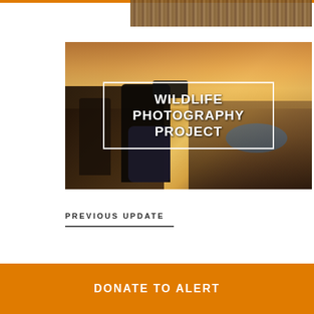[Figure (photo): Top portion of a close-up animal fur/hair photo, cropped at the top of the page]
[Figure (photo): Two photographers standing at a scenic overlook/cliff edge, one holding a camera on a tripod, with a canyon and river landscape in the background at sunset or dusk. White bordered overlay text reads WILDLIFE PHOTOGRAPHY PROJECT.]
PREVIOUS UPDATE
DONATE TO ALERT